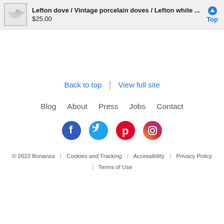Lefton dove / Vintage porcelain doves / Lefton white ... $25.00
Back to top | View full site
Blog  About  Press  Jobs  Contact
[Figure (other): Social media icons: Facebook, Twitter, Pinterest, Instagram]
© 2022 Bonanza | Cookies and Tracking | Accessibility | Privacy Policy | Terms of Use